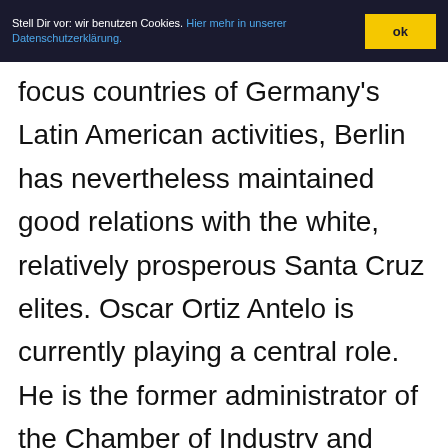Stell Dir vor: wir benutzen Cookies. Hier mehr in unserer Datenschutzerklärung. ok
focus countries of Germany's Latin American activities, Berlin has nevertheless maintained good relations with the white, relatively prosperous Santa Cruz elites. Oscar Ortiz Antelo is currently playing a central role. He is the former administrator of the Chamber of Industry and Commerce in Santa